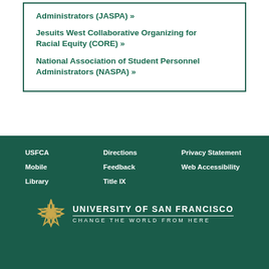Administrators (JASPA) »
Jesuits West Collaborative Organizing for Racial Equity (CORE) »
National Association of Student Personnel Administrators (NASPA) »
USFCA
Mobile
Library
Directions
Feedback
Title IX
Privacy Statement
Web Accessibility
University of San Francisco — Change the World from Here